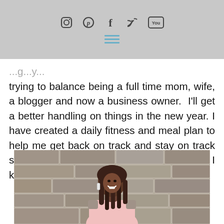Social media icons: Instagram, Pinterest, Facebook, Twitter, YouTube. Hamburger menu.
trying to balance being a full time mom, wife, a blogger and now a business owner.  I'll get a better handling on things in the new year. I have created a daily fitness and meal plan to help me get back on track and stay on track starting in january of 2020 and beyond. I know I can do it and I'll do it.
[Figure (photo): A woman in a pink off-shoulder top smiling in front of a stone wall background.]